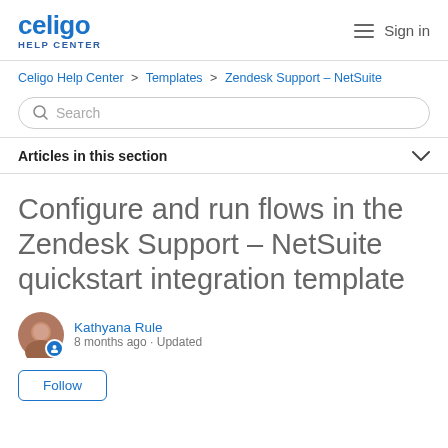celigo HELP CENTER  Sign in
Celigo Help Center > Templates > Zendesk Support – NetSuite
Search
Articles in this section
Configure and run flows in the Zendesk Support – NetSuite quickstart integration template
Kathyana Rule
8 months ago · Updated
Follow